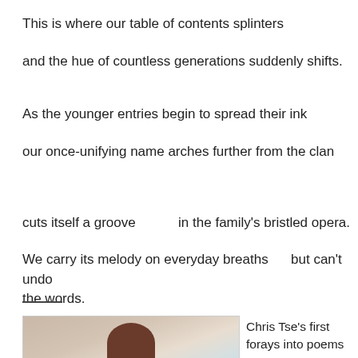This is where our table of contents splinters
and the hue of countless generations suddenly shifts.
As the younger entries begin to spread their ink
our once-unifying name arches further from the clan
cuts itself a groove                    in the family's bristled opera.
We carry its melody on everyday breaths      but can't undo the words.
Chris Tse's first forays into poems about his family were